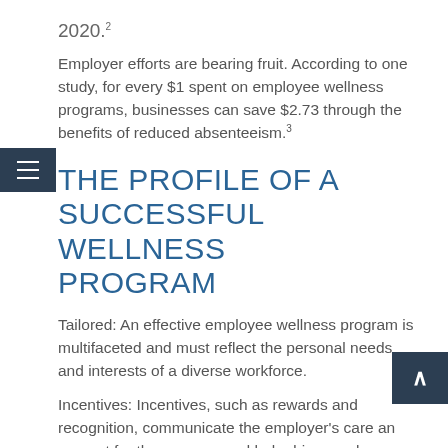2020.²
Employer efforts are bearing fruit. According to one study, for every $1 spent on employee wellness programs, businesses can save $2.73 through the benefits of reduced absenteeism.³
THE PROFILE OF A SUCCESSFUL WELLNESS PROGRAM
Tailored: An effective employee wellness program is multifaceted and must reflect the personal needs and interests of a diverse workforce.
Incentives: Incentives, such as rewards and recognition, communicate the employer's care and support for the program and help drive employee participation.